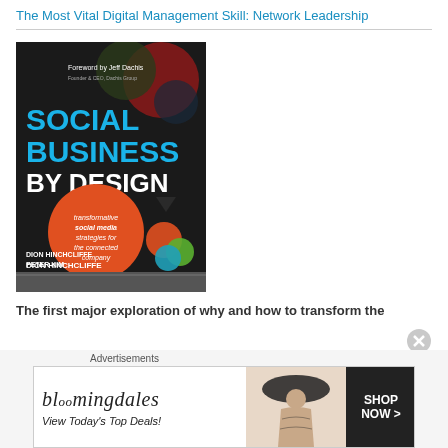The Most Vital Digital Management Skill: Network Leadership
[Figure (illustration): Book cover of 'Social Business By Design' by Dion Hinchcliffe and Peter Kim, with foreword by Jeff Dachis, Founder & CEO, Dachis Group. Dark background with colorful circles. Subtitle: transformative social media strategies for the connected company.]
The first major exploration of why and how to transform the
Advertisements
[Figure (illustration): Bloomingdales advertisement banner: 'View Today's Top Deals!' with a woman in a hat and a 'SHOP NOW >' button.]